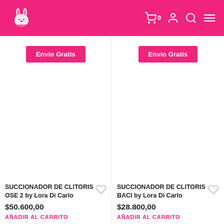Logo header with cart, user, search, menu icons
[Figure (screenshot): Product card 1: Envío Gratis badge, product image area (blank), SUCCIONADOR DE CLITORIS OSE 2 by Lora Di Carlo, $50.600,00, AÑADIR AL CARRITO]
[Figure (screenshot): Product card 2: Envío Gratis badge, product image area (blank), SUCCIONADOR DE CLITORIS BACI by Lora Di Carlo, $28.800,00, AÑADIR AL CARRITO]